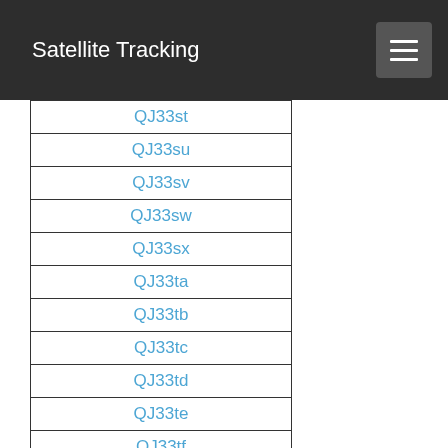Satellite Tracking
| QJ33st |
| QJ33su |
| QJ33sv |
| QJ33sw |
| QJ33sx |
| QJ33ta |
| QJ33tb |
| QJ33tc |
| QJ33td |
| QJ33te |
| QJ33tf |
| QJ33tg |
| QJ33th |
| QJ33ti |
| QJ33tj |
| QJ33tk |
| QJ33tl |
| QJ33tm |